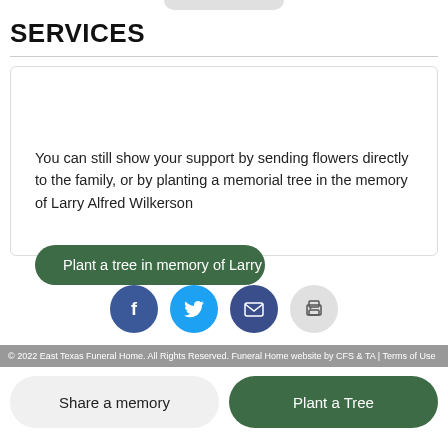SERVICES
You can still show your support by sending flowers directly to the family, or by planting a memorial tree in the memory of Larry Alfred Wilkerson
Plant a tree in memory of Larry
[Figure (infographic): Row of four social media / action icon circles: Facebook (dark blue), Twitter (light blue), Email (dark blue), Print (gray)]
© 2022 East Texas Funeral Home. All Rights Reserved. Funeral Home website by CFS & TA | Terms of Use
Share a memory
Plant a Tree